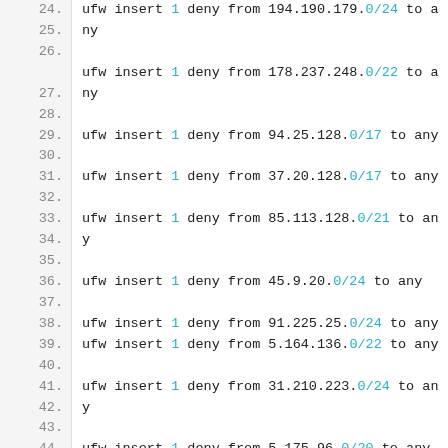Code listing showing ufw firewall rules, lines 24-47, with commands to deny traffic from various IP ranges.